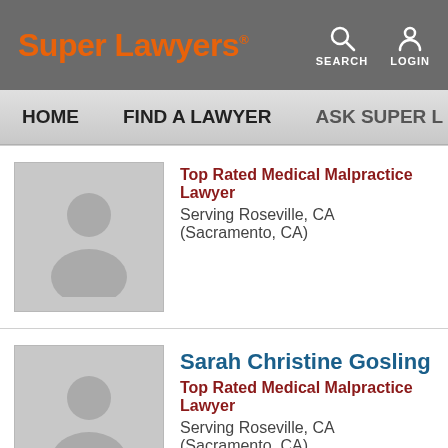Super Lawyers
HOME   FIND A LAWYER   ASK SUPER L...
[Figure (illustration): Generic lawyer silhouette placeholder avatar (first listing)]
Top Rated Medical Malpractice Lawyer
Serving Roseville, CA (Sacramento, CA)
[Figure (illustration): Generic lawyer silhouette placeholder avatar for Sarah Christine Gosling]
Sarah Christine Gosling
Top Rated Medical Malpractice Lawyer
Serving Roseville, CA (Sacramento, CA)
[Figure (illustration): Generic lawyer silhouette placeholder avatar for Lindsay A. Goulding]
Lindsay A. Goulding
Top Rated Medical Malpractice Lawyer
Serving Roseville, CA (Sacramento, CA)